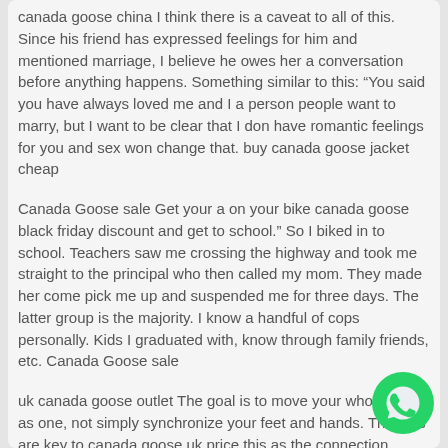canada goose china I think there is a caveat to all of this. Since his friend has expressed feelings for him and mentioned marriage, I believe he owes her a conversation before anything happens. Something similar to this: "You said you have always loved me and I a person people want to marry, but I want to be clear that I don have romantic feelings for you and sex won change that. buy canada goose jacket cheap
Canada Goose sale Get your a on your bike canada goose black friday discount and get to school." So I biked in to school. Teachers saw me crossing the highway and took me straight to the principal who then called my mom. They made her come pick me up and suspended me for three days. The latter group is the majority. I know a handful of cops personally. Kids I graduated with, know through family friends, etc. Canada Goose sale
uk canada goose outlet The goal is to move your whole body as one, not simply synchronize your feet and hands. The hips are key to canada goose uk price this as the connection between the lower and upper body. While this exercise doesn have you moving your feet, you are still using most of your body. uk canada
[Figure (logo): WhatsApp green circular icon with white phone handset]